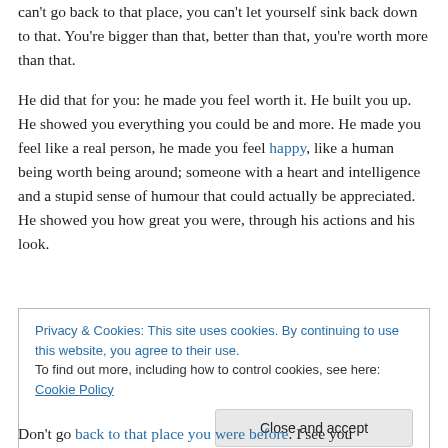can't go back to that place, you can't let yourself sink back down to that. You're bigger than that, better than that, you're worth more than that.
He did that for you: he made you feel worth it. He built you up. He showed you everything you could be and more. He made you feel like a real person, he made you feel happy, like a human being worth being around; someone with a heart and intelligence and a stupid sense of humour that could actually be appreciated. He showed you how great you were, through his actions and his look.
Privacy & Cookies: This site uses cookies. By continuing to use this website, you agree to their use. To find out more, including how to control cookies, see here: Cookie Policy
Don't go back to that place you were before. I see you